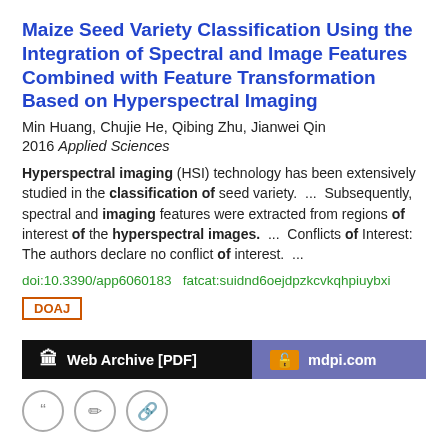Maize Seed Variety Classification Using the Integration of Spectral and Image Features Combined with Feature Transformation Based on Hyperspectral Imaging
Min Huang, Chujie He, Qibing Zhu, Jianwei Qin
2016 Applied Sciences
Hyperspectral imaging (HSI) technology has been extensively studied in the classification of seed variety.  ...  Subsequently, spectral and imaging features were extracted from regions of interest of the hyperspectral images.  ...  Conflicts of Interest: The authors declare no conflict of interest.  ...
doi:10.3390/app6060183  fatcat:suidnd6oejdpzkcvkqhpiuybxi
DOAJ
Web Archive [PDF]
mdpi.com
Segmentation and classification of hyperspectral images using watershed transformation
Y. Tarabalka, J. Chanussot, J.A. Benediktsson
2010 Pattern Recognition